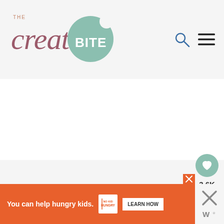[Figure (logo): The Creative Bite logo with cursive 'creative' in mauve/rose color, 'THE' in small caps above, 'BITE' in white bold sans-serif on a sage green circle with a bite taken out]
[Figure (infographic): Navigation bar icons: search (magnifying glass) and hamburger menu in dark color on right side of header]
[Figure (infographic): Teal/sage green circular heart button showing a white heart icon, with '3.6K' count below and a share button circle below that]
[Figure (infographic): Orange advertisement banner: 'You can help hungry kids.' with No Kid Hungry logo and LEARN HOW button in white, with X close button]